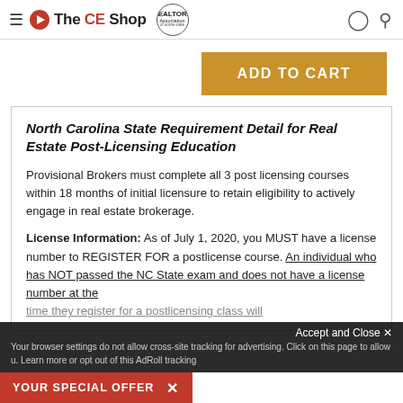The CE Shop | REALTORS Association
ADD TO CART
North Carolina State Requirement Detail for Real Estate Post-Licensing Education
Provisional Brokers must complete all 3 post licensing courses within 18 months of initial licensure to retain eligibility to actively engage in real estate brokerage.
License Information: As of July 1, 2020, you MUST have a license number to REGISTER FOR a postlicense course. An individual who has NOT passed the NC State exam and does not have a license number at the time they register for a postlicensing class will...
YOUR SPECIAL OFFER  ×
Accept and Close ×
Your browser settings do not allow cross-site tracking for advertising. Click on this page to allow u. Learn more or opt out of this AdRoll tracking